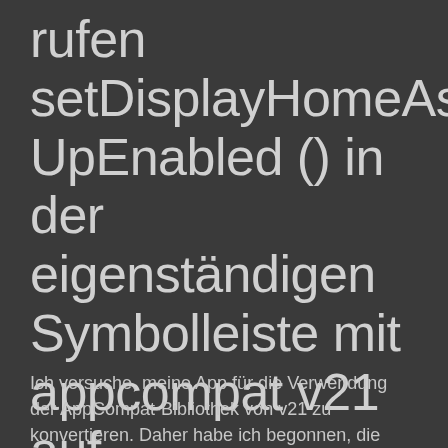rufen setDisplayHomeAsUpEnabled () in der eigenständigen Symbolleiste mit appcompat v21 auf
Ich versuche, meine App für die Verwendung der AppCompat-Bibliothek von v21 zu konvertieren. Daher habe ich begonnen, die Symbolleiste anstelle von ActionBar zu verwenden. Bei all meinen regelmäßigen Aktivitäten (die ActionBar-Aktivitäten erweitern) ist alles in Ordnung.